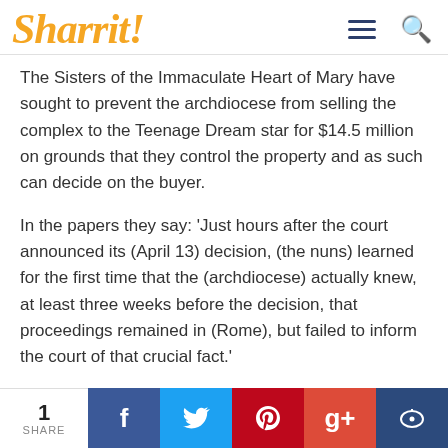Sharrit!
The Sisters of the Immaculate Heart of Mary have sought to prevent the archdiocese from selling the complex to the Teenage Dream star for $14.5 million on grounds that they control the property and as such can decide on the buyer.
In the papers they say: ‘Just hours after the court announced its (April 13) decision, (the nuns) learned for the first time that the (archdiocese) actually knew, at least three weeks before the decision, that proceedings remained in (Rome), but failed to inform the court of that crucial fact.’
However, the archdiocese dismissed the claim and said
1 SHARE